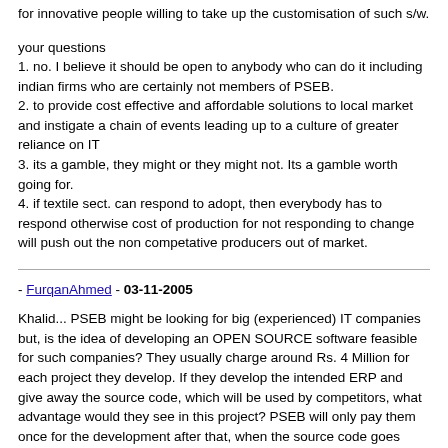for innovative people willing to take up the customisation of such s/w.
your questions
1. no. I believe it should be open to anybody who can do it including indian firms who are certainly not members of PSEB.
2. to provide cost effective and affordable solutions to local market and instigate a chain of events leading up to a culture of greater reliance on IT
3. its a gamble, they might or they might not. Its a gamble worth going for.
4. if textile sect. can respond to adopt, then everybody has to respond otherwise cost of production for not responding to change will push out the non competative producers out of market.
- FurqanAhmed - 03-11-2005
Khalid... PSEB might be looking for big (experienced) IT companies but, is the idea of developing an OPEN SOURCE software feasible for such companies? They usually charge around Rs. 4 Million for each project they develop. If they develop the intended ERP and give away the source code, which will be used by competitors, what advantage would they see in this project? PSEB will only pay them once for the development after that, when the source code goes public big IT companies will be uncompetitive against smaller compaines.
You're right about Linux and other open source projects like sourceforge GNU etc. but they all are under the open source licence from the very begining. In fact, they started out as community project. On the other